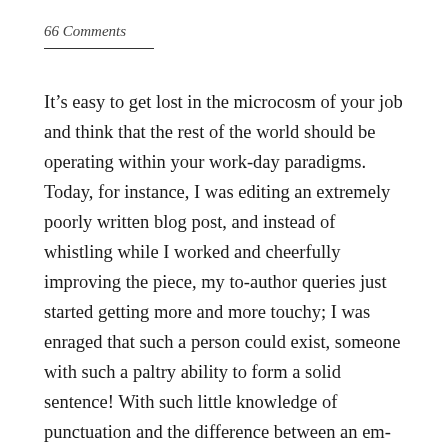66 Comments
It’s easy to get lost in the microcosm of your job and think that the rest of the world should be operating within your work-day paradigms. Today, for instance, I was editing an extremely poorly written blog post, and instead of whistling while I worked and cheerfully improving the piece, my to-author queries just started getting more and more touchy; I was enraged that such a person could exist, someone with such a paltry ability to form a solid sentence! With such little knowledge of punctuation and the difference between an em- and en-dash!